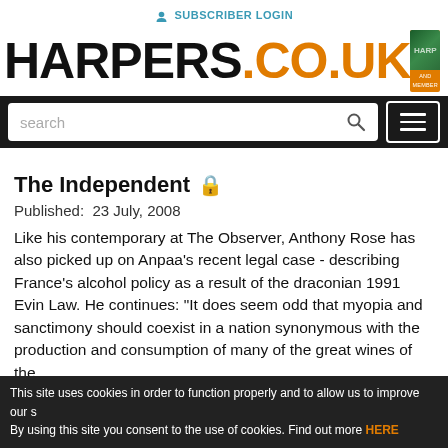SUBSCRIBER LOGIN
[Figure (logo): Harpers.co.uk logo with orange .co.uk text and a green promotional ad banner for a free trial]
[Figure (screenshot): Navigation bar with search box and hamburger menu on dark background]
The Independent 🔒
Published:  23 July, 2008
Like his contemporary at The Observer, Anthony Rose has also picked up on Anpaa's recent legal case - describing France's alcohol policy as a result of the draconian 1991 Evin Law. He continues: "It does seem odd that myopia and sanctimony should coexist in a nation synonymous with the production and consumption of many of the great wines of the
This site uses cookies in order to function properly and to allow us to improve our s By using this site you consent to the use of cookies. Find out more HERE